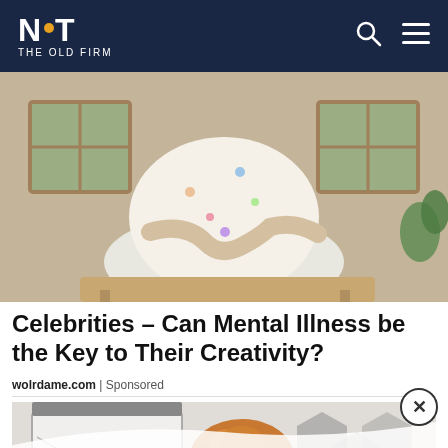NOT THE OLD FIRM
[Figure (photo): Person sitting in chair wearing patterned pajamas, arms crossed, background shows windows and plants]
Celebrities – Can Mental Illness be the Key to Their Creativity?
wolrdame.com | Sponsored
[Figure (photo): Young woman with curly hair drinking from a white cup, sitting in front of a whiteboard, hexagonal shapes in background]